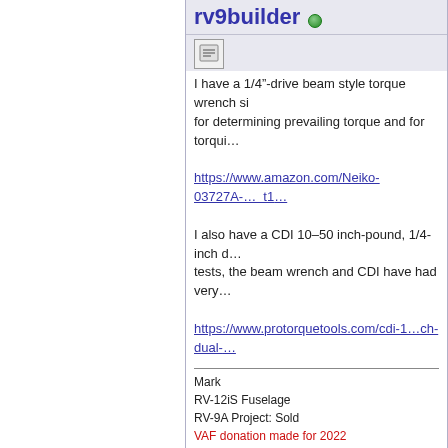rv9builder [online]
I have a 1/4"-drive beam style torque wrench si... for determining prevailing torque and for torqui...
https://www.amazon.com/Neiko-03727A-... t1...
I also have a CDI 10–50 inch-pound, 1/4-inch d... tests, the beam wrench and CDI have had very...
https://www.protorquetools.com/cdi-1...ch-dual-...
Mark
RV-12iS Fuselage
RV-9A Project: Sold
VAF donation made for 2022
Last edited by rv9builder : 01-17-2022 at 08:22 PM.
01-18-2022, 10:51 AM
rongawer [online]
if you are already using a digital torque wrench,